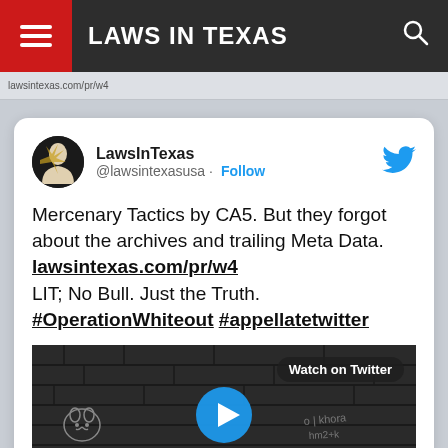LAWS IN TEXAS
[Figure (screenshot): Tweet card from @lawsintexasusa (LawsInTexas) with text: Mercenary Tactics by CA5. But they forgot about the archives and trailing Meta Data. lawsintexas.com/pr/w4 LIT; No Bull. Just the Truth. #OperationWhiteout #appellatetwitter — includes embedded video thumbnail showing graffiti wall in black and white with a Watch on Twitter badge and play button.]
LawsInTexas @lawsintexasusa · Follow
Mercenary Tactics by CA5. But they forgot about the archives and trailing Meta Data. lawsintexas.com/pr/w4 LIT; No Bull. Just the Truth. #OperationWhiteout #appellatetwitter